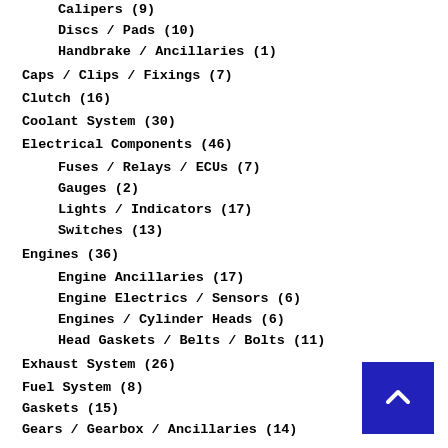Calipers (9)
Discs / Pads (10)
Handbrake / Ancillaries (1)
Caps / Clips / Fixings (7)
Clutch (16)
Coolant System (30)
Electrical Components (46)
Fuses / Relays / ECUs (7)
Gauges (2)
Lights / Indicators (17)
Switches (13)
Engines (36)
Engine Ancillaries (17)
Engine Electrics / Sensors (6)
Engines / Cylinder Heads (6)
Head Gaskets / Belts / Bolts (11)
Exhaust System (26)
Fuel System (8)
Gaskets (15)
Gears / Gearbox / Ancillaries (14)
Guards / Covers / Shields (5)